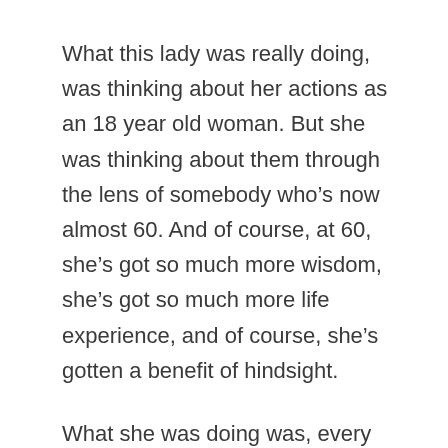What this lady was really doing, was thinking about her actions as an 18 year old woman. But she was thinking about them through the lens of somebody who’s now almost 60. And of course, at 60, she’s got so much more wisdom, she’s got so much more life experience, and of course, she’s gotten a benefit of hindsight.
What she was doing was, every time she thought back to that period of life, she was chastising that 18 year old version of herself, she was beating herself up, and it’s not helpful. We’re all doing the best that we know how to at the time, and beating your younger self up leaves emotional